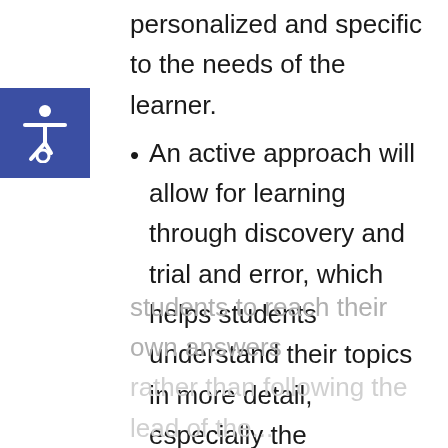personalized and specific to the needs of the learner.
An active approach will allow for learning through discovery and trial and error, which helps students understand their topics in more detail, especially the underpinning reasons for why things are true or false.
A passive approach implies that there is one true or right way to learn and one truth. A more active approach will allow students to reach their own answers rather than following the lead of the...